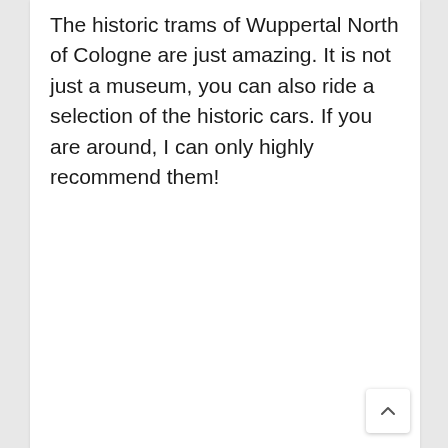The historic trams of Wuppertal North of Cologne are just amazing. It is not just a museum, you can also ride a selection of the historic cars. If you are around, I can only highly recommend them!